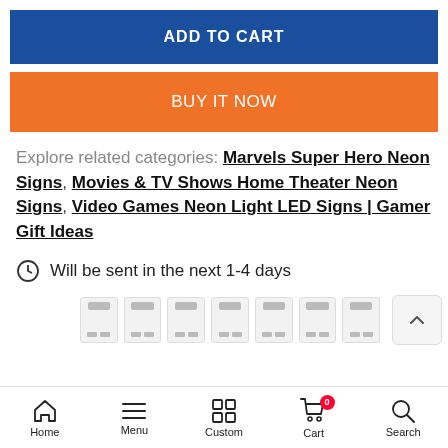[Figure (screenshot): ADD TO CART button — blue background, white bold text]
[Figure (screenshot): BUY IT NOW button — orange background, white text]
Explore related categories: Marvels Super Hero Neon Signs, Movies & TV Shows Home Theater Neon Signs, Video Games Neon Light LED Signs | Gamer Gift Ideas
Will be sent in the next 1-4 days
[Figure (screenshot): Thumbnail cards row showing product image placeholders]
Home | Menu | Custom | Cart (0) | Search